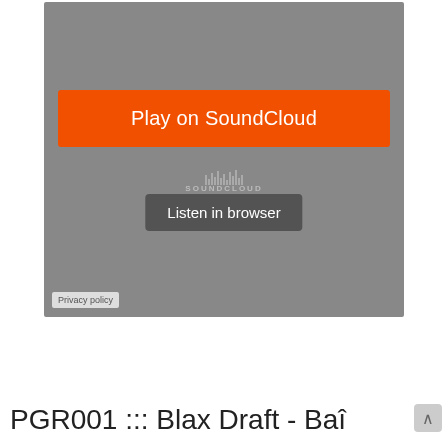[Figure (screenshot): SoundCloud embedded player screenshot showing a gray background with an orange 'Play on SoundCloud' button and a gray 'Listen in browser' button, along with a Privacy policy link in the bottom left corner.]
PGR001 ::: Blax Draft - Baî